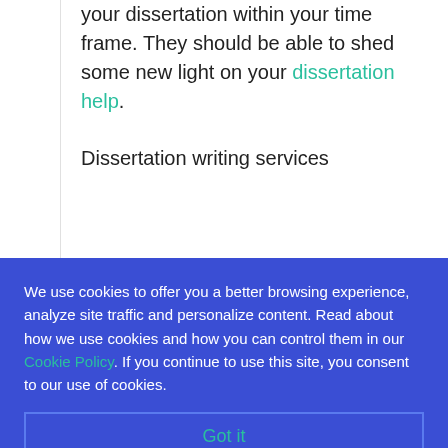your dissertation within your time frame. They should be able to shed some new light on your dissertation help.
Dissertation writing services
We use cookies to offer you a better browsing experience, analyze site traffic and personalize content. Read about how we use cookies and how you can control them in our Cookie Policy. If you continue to use this site, you consent to our use of cookies.
Got it